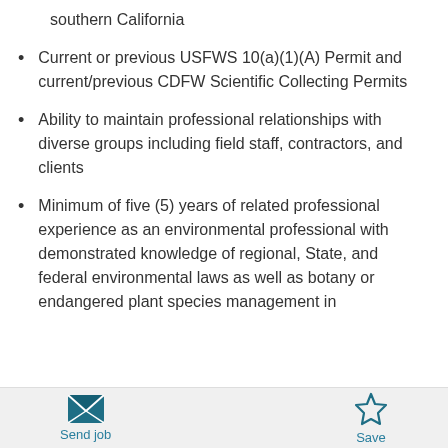southern California
Current or previous USFWS 10(a)(1)(A) Permit and current/previous CDFW Scientific Collecting Permits
Ability to maintain professional relationships with diverse groups including field staff, contractors, and clients
Minimum of five (5) years of related professional experience as an environmental professional with demonstrated knowledge of regional, State, and federal environmental laws as well as botany or endangered plant species management in
Send job  Save